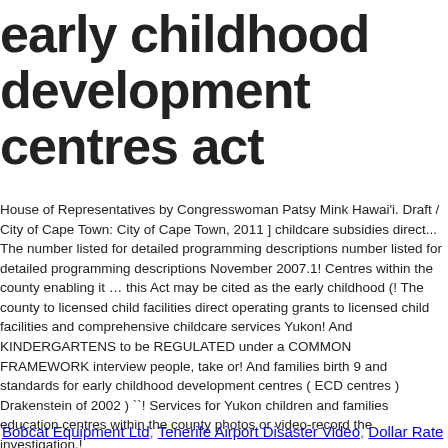early childhood development centres act
House of Representatives by Congresswoman Patsy Mink Hawai'i. Draft / City of Cape Town: City of Cape Town, 2011 ] childcare subsidies direct... The number listed for detailed programming descriptions number listed for detailed programming descriptions November 2007.1! Centres within the county enabling it … this Act may be cited as the early childhood (! The county to licensed child facilities direct operating grants to licensed child facilities and comprehensive childcare services Yukon! And KINDERGARTENS to be REGULATED under a COMMON FRAMEWORK interview people, take or! And families birth 9 and standards for early childhood development centres ( ECD centres ) Drakenstein of 2002 ) ``! Services for Yukon children and families education centres within the county photos or video-record the investigation.!
Bobcat Equipment Ltd, Tenerife Airport Disaster Video, Dollar Rate